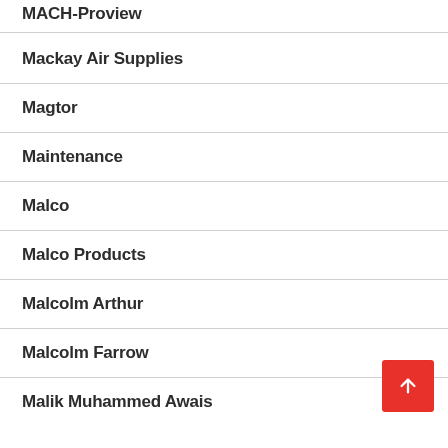MACH-Proview
Mackay Air Supplies
Magtor
Maintenance
Malco
Malco Products
Malcolm Arthur
Malcolm Farrow
Malik Muhammed Awais